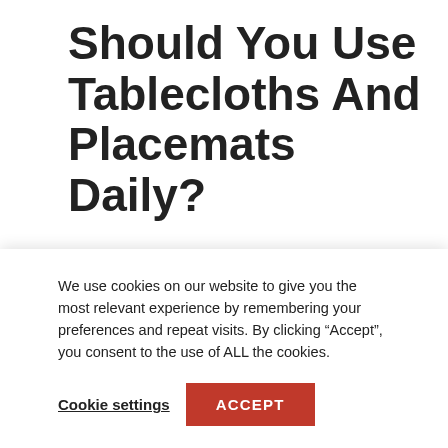Should You Use Tablecloths And Placemats Daily?
It depends as there’s no rule for it.
You probably don’t need to
because it would be monotonous
We use cookies on our website to give you the most relevant experience by remembering your preferences and repeat visits. By clicking “Accept”, you consent to the use of ALL the cookies.
Cookie settings
ACCEPT